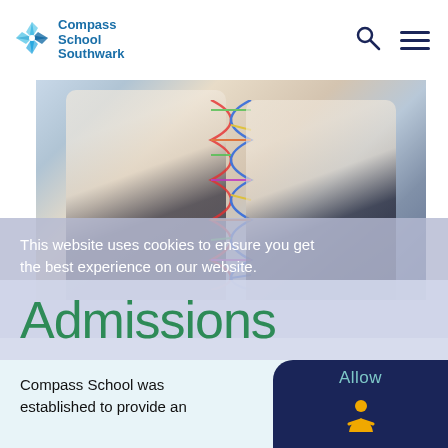[Figure (logo): Compass School Southwark logo with compass star icon and text]
[Figure (photo): Two school students in uniform examining a DNA model together]
This website uses cookies to ensure you get the best experience on our website.
Admissions
Compass School was established to provide an
Allow